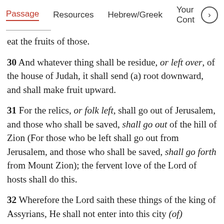Passage   Resources   Hebrew/Greek   Your Cont >
eat the fruits of those.
30 And whatever thing shall be residue, or left over, of the house of Judah, it shall send (a) root downward, and shall make fruit upward.
31 For the relics, or folk left, shall go out of Jerusalem, and those who shall be saved, shall go out of the hill of Zion (For those who be left shall go out from Jerusalem, and those who shall be saved, shall go forth from Mount Zion); the fervent love of the Lord of hosts shall do this.
32 Wherefore the Lord saith these things of the king of Assyrians, He shall not enter into this city (of) Jerusalem, neither he shall send an arrow into it, neither shield of him shall occupy it, neither